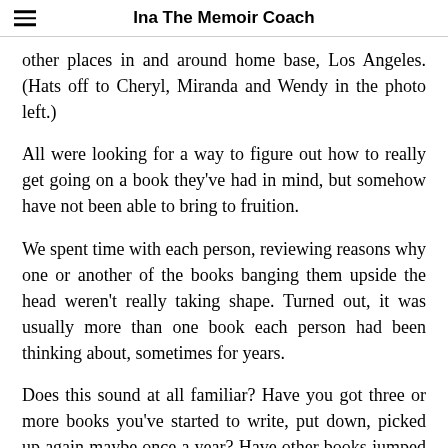Ina The Memoir Coach
other places in and around home base, Los Angeles. (Hats off to Cheryl, Miranda and Wendy in the photo left.)
All were looking for a way to figure out how to really get going on a book they've had in mind, but somehow have not been able to bring to fruition.
We spent time with each person, reviewing reasons why one or another of the books banging them upside the head weren't really taking shape. Turned out, it was usually more than one book each person had been thinking about, sometimes for years.
Does this sound at all familiar? Have you got three or more books you've started to write, put down, picked up again maybe once a year? Have other books jumped up and demanded you tackle them